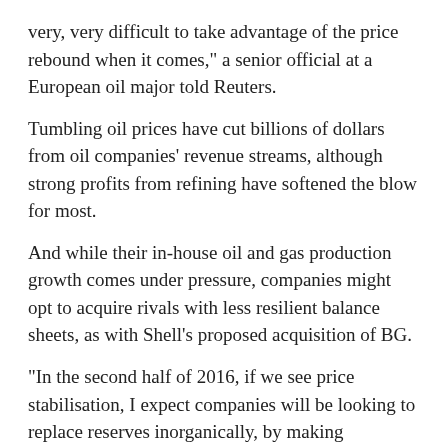very, very difficult to take advantage of the price rebound when it comes," a senior official at a European oil major told Reuters.
Tumbling oil prices have cut billions of dollars from oil companies' revenue streams, although strong profits from refining have softened the blow for most.
And while their in-house oil and gas production growth comes under pressure, companies might opt to acquire rivals with less resilient balance sheets, as with Shell's proposed acquisition of BG.
"In the second half of 2016, if we see price stabilisation, I expect companies will be looking to replace reserves inorganically, by making acquisitions," Warn said.
reuters.com
-----